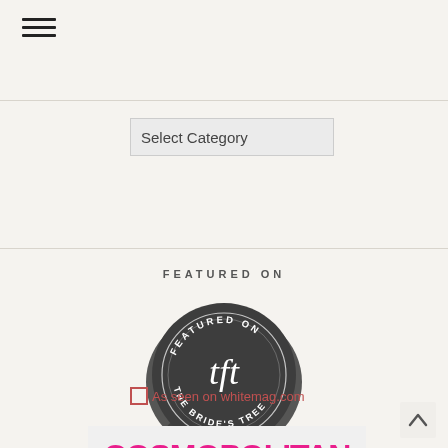[Figure (other): Hamburger menu icon (three horizontal lines) in top-left corner]
Select Category
FEATURED ON
[Figure (logo): Dark circular wax-seal style badge with text 'FEATURED ON' curved at top, 'tft' script lettering in center, 'THE BRIDE'S TREE' curved at bottom]
[Figure (logo): As seen on whitemag.com - image with alt text]
[Figure (photo): Cosmopolitan Bride magazine cover showing pink masthead and a bride]